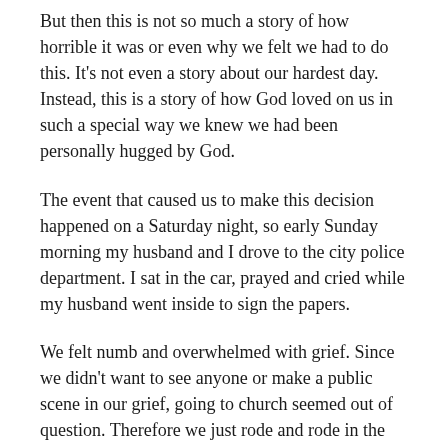But then this is not so much a story of how horrible it was or even why we felt we had to do this. It's not even a story about our hardest day. Instead, this is a story of how God loved on us in such a special way we knew we had been personally hugged by God.
The event that caused us to make this decision happened on a Saturday night, so early Sunday morning my husband and I drove to the city police department. I sat in the car, prayed and cried while my husband went inside to sign the papers.
We felt numb and overwhelmed with grief. Since we didn't want to see anyone or make a public scene in our grief, going to church seemed out of question. Therefore we just rode and rode in the car in complete numbness and dead silence with no sense of direction.